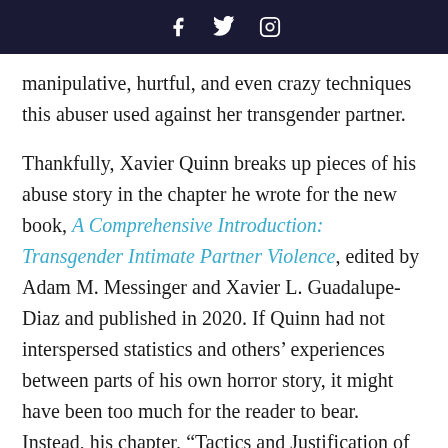f  Twitter  Instagram
manipulative, hurtful, and even crazy techniques this abuser used against her transgender partner.
Thankfully, Xavier Quinn breaks up pieces of his abuse story in the chapter he wrote for the new book, A Comprehensive Introduction: Transgender Intimate Partner Violence, edited by Adam M. Messinger and Xavier L. Guadalupe-Diaz and published in 2020. If Quinn had not interspersed statistics and others' experiences between parts of his own horror story, it might have been too much for the reader to bear. Instead, his chapter, “Tactics and Justification of Abuse Involving Transgender Individuals,” is